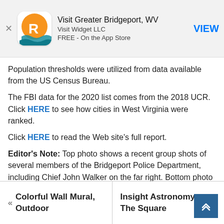[Figure (screenshot): App store banner for 'Visit Greater Bridgeport, WV' by Visit Widget LLC, free on the App Store, with a VIEW button]
Population thresholds were utilized from data available from the US Census Bureau.
The FBI data for the 2020 list comes from the 2018 UCR. Click HERE to see how cities in West Virginia were ranked.
Click HERE to read the Web site's full report.
Editor's Note: Top photo shows a recent group shots of several members of the Bridgeport Police Department, including Chief John Walker on the far right. Bottom photo shows an officer patrolling in the parking lot at the Meadowbrook Mall. Walker is pictured on the cover.
« Colorful Wall Mural, Outdoor | Insight Astronomy at The Square